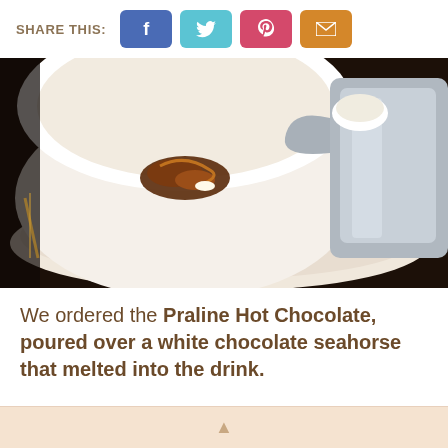SHARE THIS:
[Figure (photo): A large white ceramic cup and saucer with a small chocolate praline seahorse inside, placed on a dark wooden table next to a silver hot chocolate pot and a small white espresso cup.]
We ordered the Praline Hot Chocolate, poured over a white chocolate seahorse that melted into the drink.
▲